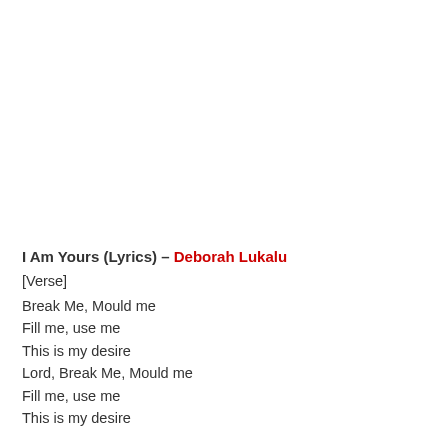I Am Yours (Lyrics) – Deborah Lukalu
[Verse]
Break Me, Mould me
Fill me, use me
This is my desire
Lord, Break Me, Mould me
Fill me, use me
This is my desire